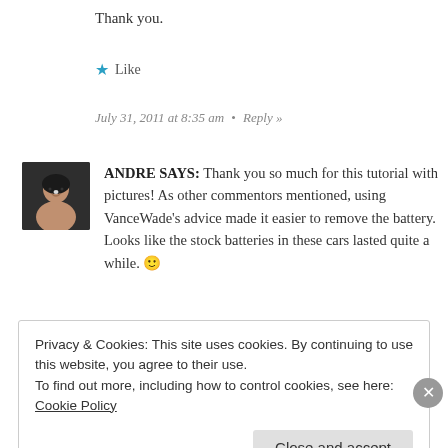Thank you.
★ Like
July 31, 2011 at 8:35 am  •  Reply »
ANDRE SAYS: Thank you so much for this tutorial with pictures! As other commentors mentioned, using VanceWade's advice made it easier to remove the battery. Looks like the stock batteries in these cars lasted quite a while. 🙂
Privacy & Cookies: This site uses cookies. By continuing to use this website, you agree to their use.
To find out more, including how to control cookies, see here: Cookie Policy
Close and accept